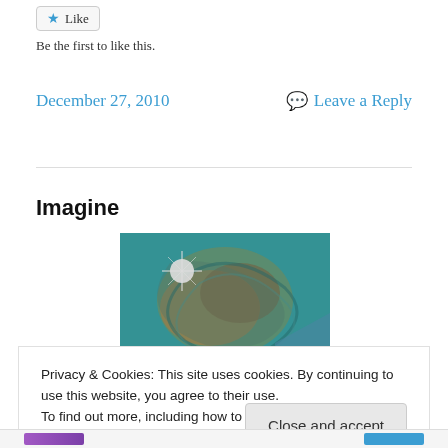Like
Be the first to like this.
December 27, 2010
Leave a Reply
Imagine
[Figure (photo): Circular fisheye-style swirling landscape photo with teal/turquoise background and earthy tones, bright light flare in upper left]
Privacy & Cookies: This site uses cookies. By continuing to use this website, you agree to their use.
To find out more, including how to control cookies, see here: Cookie Policy
Close and accept